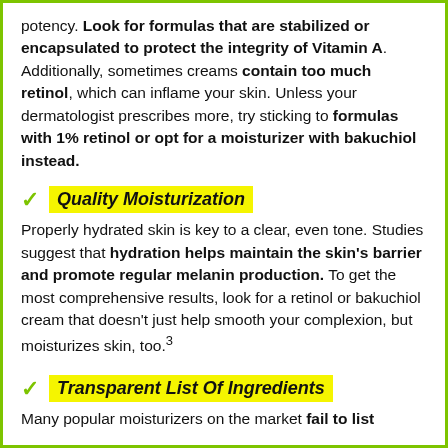potency. Look for formulas that are stabilized or encapsulated to protect the integrity of Vitamin A. Additionally, sometimes creams contain too much retinol, which can inflame your skin. Unless your dermatologist prescribes more, try sticking to formulas with 1% retinol or opt for a moisturizer with bakuchiol instead.
Quality Moisturization
Properly hydrated skin is key to a clear, even tone. Studies suggest that hydration helps maintain the skin's barrier and promote regular melanin production. To get the most comprehensive results, look for a retinol or bakuchiol cream that doesn't just help smooth your complexion, but moisturizes skin, too.³
Transparent List Of Ingredients
Many popular moisturizers on the market fail to list